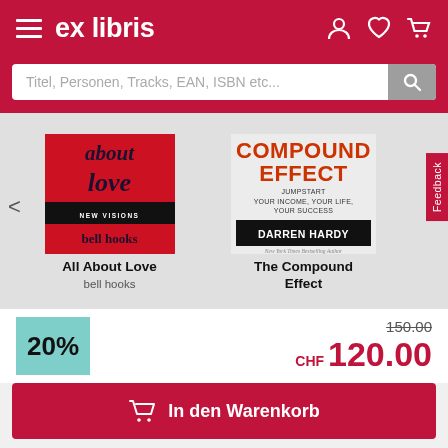ex libris
Titel, Personen, Tracks, EAN, ISBN etc...
[Figure (illustration): Book cover: All About Love by bell hooks, red cover with italic text]
All About Love
bell hooks
[Figure (illustration): Book cover: The Compound Effect by Darren Hardy, white cover with orange/black text]
The Compound Effect
20%
150.00
CHF 120.00
In den Warenkorb